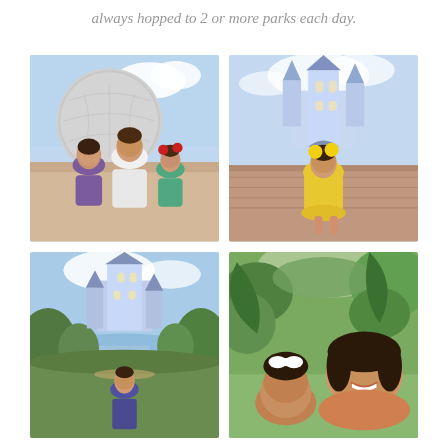always hopped to 2 or more parks each day.
[Figure (photo): Two girls and a woman posing in front of Spaceship Earth at EPCOT. The woman wears a white top, one girl wears a purple shirt, and a smaller girl wears a purple outfit with red Mickey ears.]
[Figure (photo): A young girl in a yellow dress with yellow Mickey ears standing in front of Cinderella Castle at Magic Kingdom.]
[Figure (photo): A girl standing in front of Cinderella Castle at Magic Kingdom, with a view of the castle reflected in water and lush green trees.]
[Figure (photo): A smiling woman taking a selfie with a young girl in a lush tropical garden setting, likely at Animal Kingdom or similar park.]